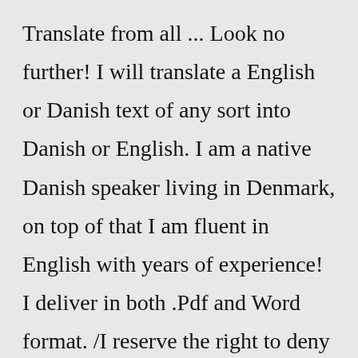Translate from all ... Look no further! I will translate a English or Danish text of any sort into Danish or English. I am a native Danish speaker living in Denmark, on top of that I am fluent in English with years of experience! I deliver in both .Pdf and Word format. /I reserve the right to deny any text that I deem unsuitable./.My name is Jennifer and I am a professional freelance translator and interpreter, based in Scotland,